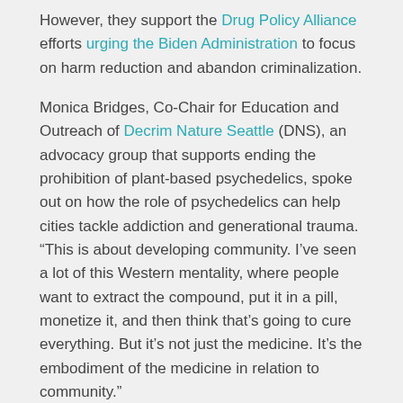However, they support the Drug Policy Alliance efforts urging the Biden Administration to focus on harm reduction and abandon criminalization.
Monica Bridges, Co-Chair for Education and Outreach of Decrim Nature Seattle (DNS), an advocacy group that supports ending the prohibition of plant-based psychedelics, spoke out on how the role of psychedelics can help cities tackle addiction and generational trauma. “This is about developing community. I’ve seen a lot of this Western mentality, where people want to extract the compound, put it in a pill, monetize it, and then think that’s going to cure everything. But it’s not just the medicine. It’s the embodiment of the medicine in relation to community.”
A strategy for building a national movement should support psychedelics to address a